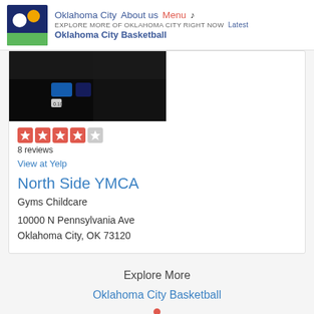Oklahoma City  About us  Menu ♪  EXPLORE MORE OF OKLAHOMA CITY RIGHT NOW  Latest  Oklahoma City Basketball
[Figure (photo): Close-up photo of electronic device/keyboard with blue illuminated keys and '0.10' label visible]
[Figure (other): Yelp star rating: 4 out of 5 stars]
8 reviews
View at Yelp
North Side YMCA
Gyms Childcare
10000 N Pennsylvania Ave
Oklahoma City, OK 73120
Explore More
Oklahoma City Basketball